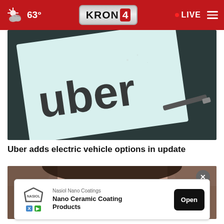63° KRON 4 LIVE
[Figure (photo): Close-up photo of an Uber logo printed on a light-colored card resting on a dark surface, with a pen visible in the background]
Uber adds electric vehicle options in update
[Figure (photo): Partial photo of a person's face, cropped to show forehead and hair, with an advertisement overlay at the bottom]
Nasiol Nano Coatings
Nano Ceramic Coating Products
Open